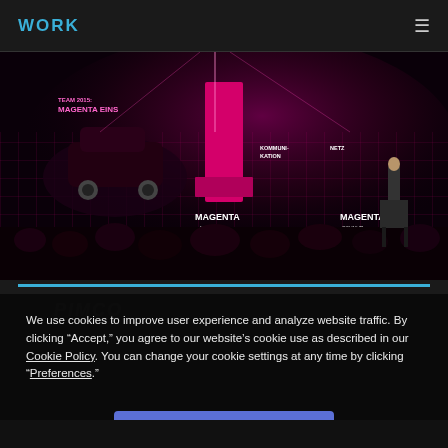WORK
[Figure (photo): Event stage with magenta/pink LED screen showing 'MAGENTA EINS' branding, a sports car silhouette, and a presenter on stage with audience in foreground]
We use cookies to improve user experience and analyze website traffic. By clicking “Accept,” you agree to our website’s cookie use as described in our Cookie Policy. You can change your cookie settings at any time by clicking “Preferences.”
Accept